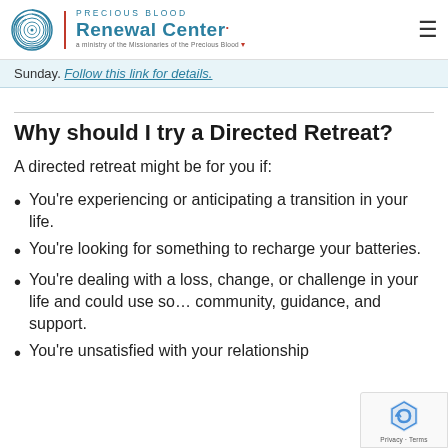Precious Blood Renewal Center — a ministry of the Missionaries of the Precious Blood
Sunday. Follow this link for details.
Why should I try a Directed Retreat?
A directed retreat might be for you if:
You're experiencing or anticipating a transition in your life.
You're looking for something to recharge your batteries.
You're dealing with a loss, change, or challenge in your life and could use some community, guidance, and support.
You're unsatisfied with your relationship…